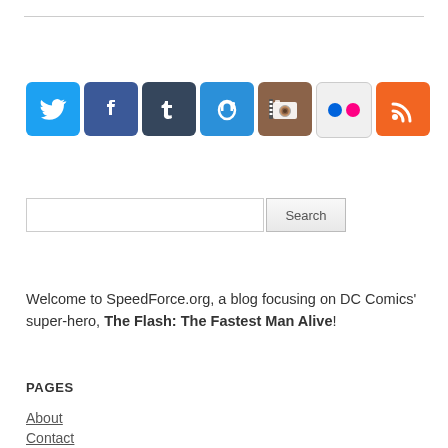[Figure (infographic): Row of 7 social media icon buttons: Twitter (sky blue), Facebook (dark blue), Tumblr (dark slate blue), Mastodon (teal/blue), Instagram (brown camera), Flickr (white with pink and blue dots), RSS (orange)]
[Figure (screenshot): Search input field with a Search button]
Welcome to SpeedForce.org, a blog focusing on DC Comics' superhero, The Flash: The Fastest Man Alive!
PAGES
About
Contact